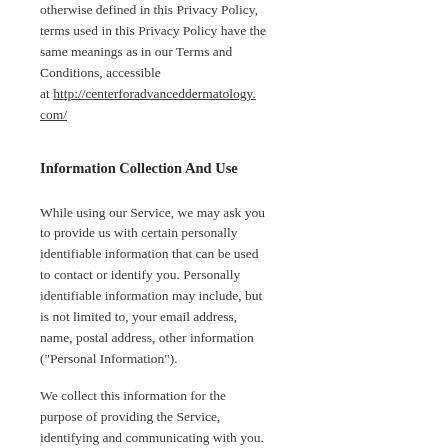otherwise defined in this Privacy Policy, terms used in this Privacy Policy have the same meanings as in our Terms and Conditions, accessible at http://centerforadvanceddermatology.com/
Information Collection And Use
While using our Service, we may ask you to provide us with certain personally identifiable information that can be used to contact or identify you. Personally identifiable information may include, but is not limited to, your email address, name, postal address, other information ("Personal Information").
We collect this information for the purpose of providing the Service, identifying and communicating with you.